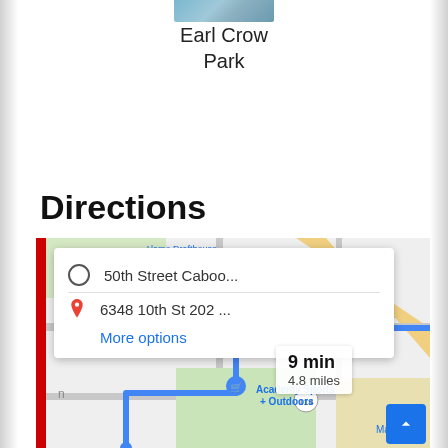[Figure (photo): Partial photo of Earl Crow Park at top of page]
Earl Crow Park
Directions
[Figure (map): Google Maps screenshot showing directions from 50th Street Caboo... to 6348 10th St 202..., with route taking 9 min and 4.8 miles. Shows Alamo Drafthouse Cinema Lubbock, Academy Sports + Outdoors, Market, road 289, and road 114 visible on map.]